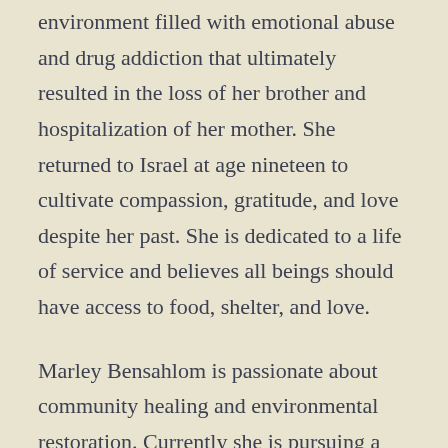environment filled with emotional abuse and drug addiction that ultimately resulted in the loss of her brother and hospitalization of her mother. She returned to Israel at age nineteen to cultivate compassion, gratitude, and love despite her past. She is dedicated to a life of service and believes all beings should have access to food, shelter, and love.
Marley Bensahlom is passionate about community healing and environmental restoration. Currently she is pursuing a degree in Natural Conservation & Research at UCB. She is dedicated to a life of service and